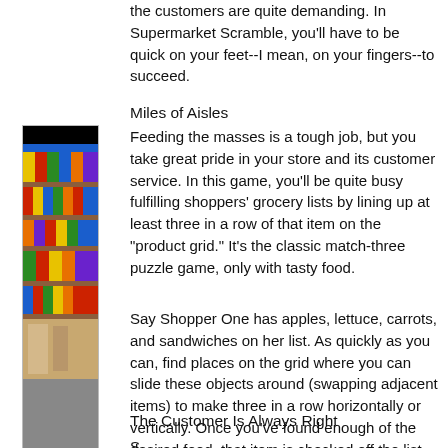the customers are quite demanding. In Supermarket Scramble, you'll have to be quick on your feet--I mean, on your fingers--to succeed.
Miles of Aisles
[Figure (screenshot): Screenshot of supermarket aisle game with colorful product shelves]
Feeding the masses is a tough job, but you take great pride in your store and its customer service. In this game, you'll be quite busy fulfilling shoppers' grocery lists by lining up at least three in a row of that item on the "product grid." It's the classic match-three puzzle game, only with tasty food.
Say Shopper One has apples, lettuce, carrots, and sandwiches on her list. As quickly as you can, find places on the grid where you can slide these objects around (swapping adjacent items) to make three in a row horizontally or vertically. Once you've found enough of the desired food, that item is checked off the list. When a customer's list is completed, you tap on the cash register to make the sale.
[Figure (screenshot): Screenshot of supermarket game showing product list and store interior]
The Customer Is Always Right